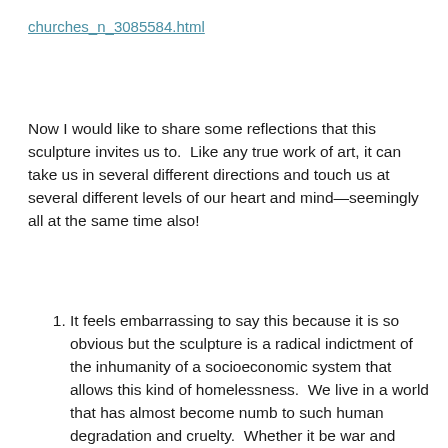churches_n_3085584.html
Now I would like to share some reflections that this sculpture invites us to.  Like any true work of art, it can take us in several different directions and touch us at several different levels of our heart and mind—seemingly all at the same time also!
It feels embarrassing to say this because it is so obvious but the sculpture is a radical indictment of the inhumanity of a socioeconomic system that allows this kind of homelessness.  We live in a world that has almost become numb to such human degradation and cruelty.  Whether it be war and famine or being driven out as a refugee, whether it be financial disaster, or